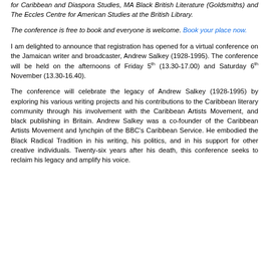for Caribbean and Diaspora Studies, MA Black British Literature (Goldsmiths) and The Eccles Centre for American Studies at the British Library.
The conference is free to book and everyone is welcome. Book your place now.
I am delighted to announce that registration has opened for a virtual conference on the Jamaican writer and broadcaster, Andrew Salkey (1928-1995). The conference will be held on the afternoons of Friday 5th (13.30-17.00) and Saturday 6th November (13.30-16.40).
The conference will celebrate the legacy of Andrew Salkey (1928-1995) by exploring his various writing projects and his contributions to the Caribbean literary community through his involvement with the Caribbean Artists Movement, and black publishing in Britain. Andrew Salkey was a co-founder of the Caribbean Artists Movement and lynchpin of the BBC's Caribbean Service. He embodied the Black Radical Tradition in his writing, his politics, and in his support for other creative individuals. Twenty-six years after his death, this conference seeks to reclaim his legacy and amplify his voice.